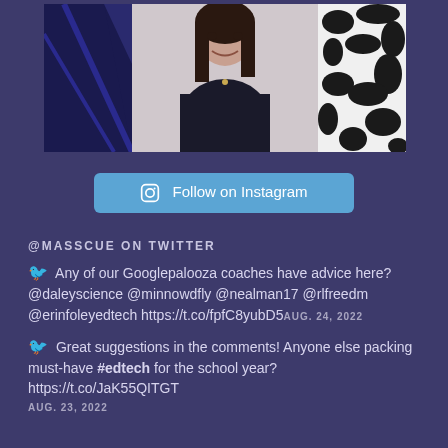[Figure (photo): Person photo with decorative banner showing a smiling woman with dark hair, gold border, navy left panel with diagonal design, and black-and-white cow pattern on right]
Follow on Instagram
@MASSCUE ON TWITTER
Any of our Googlepalooza coaches have advice here? @daleyscience @minnowdfly @nealman17 @rlfreedm @erinfoleyedtech https://t.co/fpfC8yubD5 AUG. 24, 2022
Great suggestions in the comments! Anyone else packing must-have #edtech for the school year? https://t.co/JaK55QITGT AUG. 23, 2022
CONTACT US
209 Burlington Road, Suite 113
Bedford, MA 01730-1404